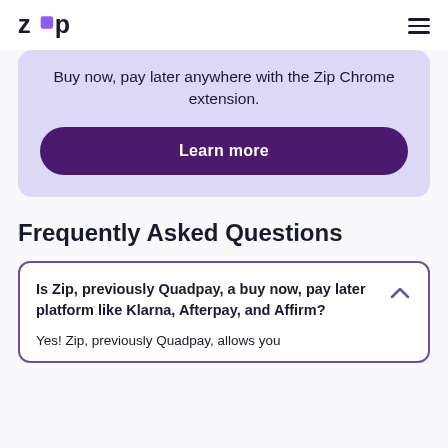Zip logo and navigation menu
Buy now, pay later anywhere with the Zip Chrome extension.
Learn more
Frequently Asked Questions
Is Zip, previously Quadpay, a buy now, pay later platform like Klarna, Afterpay, and Affirm?
Yes! Zip, previously Quadpay, allows you